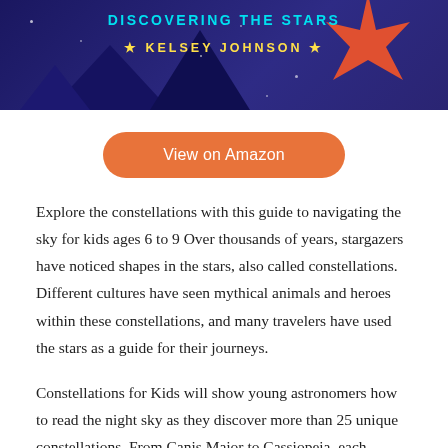[Figure (illustration): Book cover banner for 'Discovering the Stars' by Kelsey Johnson, dark navy blue background with mountain silhouettes, a red star burst in the upper right, and cyan/yellow text.]
View on Amazon
Explore the constellations with this guide to navigating the sky for kids ages 6 to 9 Over thousands of years, stargazers have noticed shapes in the stars, also called constellations. Different cultures have seen mythical animals and heroes within these constellations, and many travelers have used the stars as a guide for their journeys.
Constellations for Kids will show young astronomers how to read the night sky as they discover more than 25 unique constellations. From Canis Major to Cassiopeia, each constellation includes more and then some